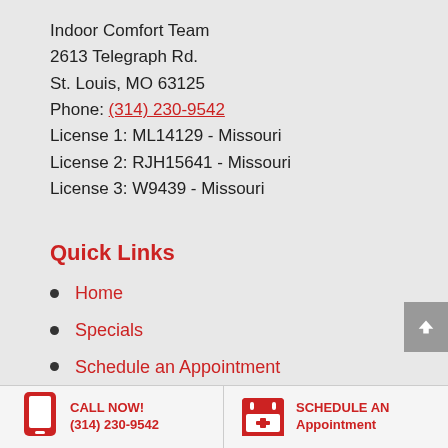Indoor Comfort Team
2613 Telegraph Rd.
St. Louis, MO 63125
Phone: (314) 230-9542
License 1: ML14129 - Missouri
License 2: RJH15641 - Missouri
License 3: W9439 - Missouri
Quick Links
Home
Specials
Schedule an Appointment
Service Area
Contact Us
CALL NOW! (314) 230-9542  |  SCHEDULE AN Appointment